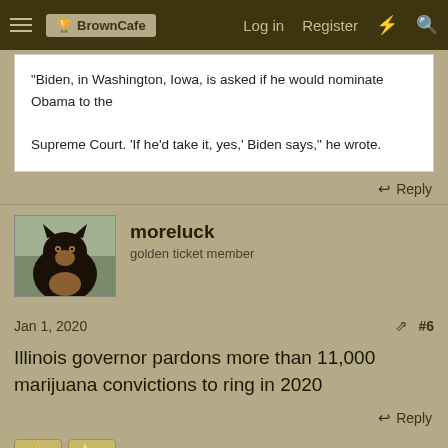BrownCafe   Log in   Register
"Biden, in Washington, Iowa, is asked if he would nominate Obama to the Supreme Court. 'If he'd take it, yes,' Biden says," he wrote.
Reply
moreluck
golden ticket member
Jan 1, 2020    #6
Illinois governor pardons more than 11,000 marijuana convictions to ring in 2020
Reply
👍 1   ⭐ 1